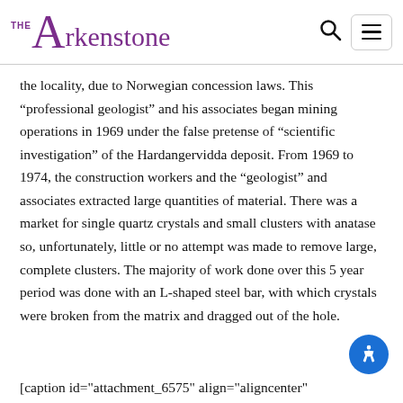THE Arkenstone
the locality, due to Norwegian concession laws. This “professional geologist” and his associates began mining operations in 1969 under the false pretense of “scientific investigation” of the Hardangervidda deposit. From 1969 to 1974, the construction workers and the “geologist” and associates extracted large quantities of material. There was a market for single quartz crystals and small clusters with anatase so, unfortunately, little or no attempt was made to remove large, complete clusters. The majority of work done over this 5 year period was done with an L-shaped steel bar, with which crystals were broken from the matrix and dragged out of the hole.
[caption id="attachment_6575" align="aligncenter"